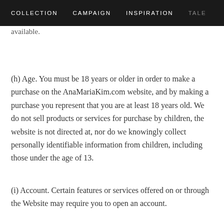COLLECTION   CAMPAIGN   INSPIRATION   TALE
available.
(h) Age. You must be 18 years or older in order to make a purchase on the AnaMariaKim.com website, and by making a purchase you represent that you are at least 18 years old. We do not sell products or services for purchase by children, the website is not directed at, nor do we knowingly collect personally identifiable information from children, including those under the age of 13.
(i) Account. Certain features or services offered on or through the Website may require you to open an account.